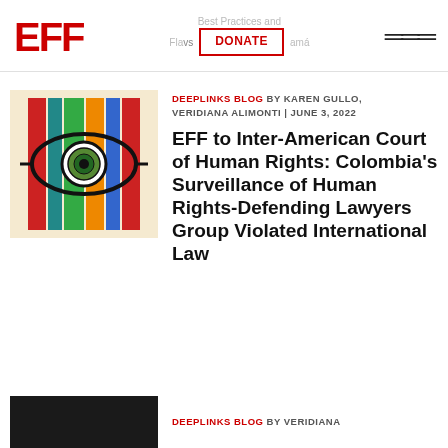EFF | DEEPLINKS BLOG BY KAREN GULLO, VERIDIANA ALIMONTI | JUNE 3, 2022 | DONATE | Best Practices and Flavs vs Panamá
[Figure (illustration): EFF surveillance/eye illustration with colorful vertical bars (red, teal, green, orange, blue) and a large eye with concentric circles in the center, on a cream background]
DEEPLINKS BLOG BY KAREN GULLO, VERIDIANA ALIMONTI | JUNE 3, 2022
EFF to Inter-American Court of Human Rights: Colombia's Surveillance of Human Rights-Defending Lawyers Group Violated International Law
[Figure (photo): Dark thumbnail image (partial, cut off at bottom of page)]
DEEPLINKS BLOG BY VERIDIANA